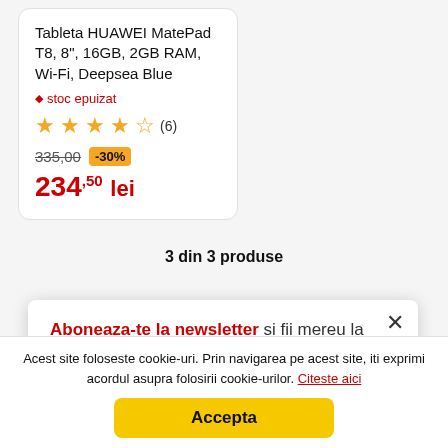Tableta HUAWEI MatePad T8, 8", 16GB, 2GB RAM, Wi-Fi, Deepsea Blue
♦ stoc epuizat
★★★★½ (6)
335,00 -30%
234,50 lei
3 din 3 produse
Aboneaza-te la newsletter si fii mereu la curent cu ofertele si promotiile noastre!
Acest site foloseste cookie-uri. Prin navigarea pe acest site, iti exprimi acordul asupra folosirii cookie-urilor. Citeste aici
Accepta